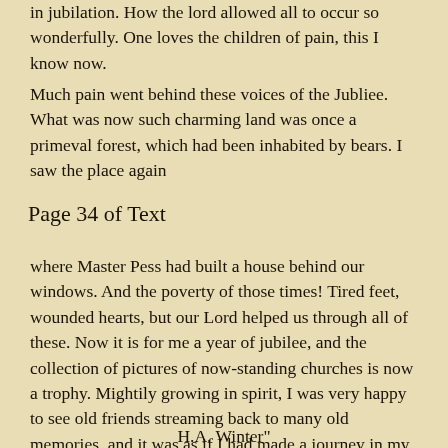in jubilation. How the lord allowed all to occur so wonderfully. One loves the children of pain, this I know now.
Much pain went behind these voices of the Jubliee. What was now such charming land was once a primeval forest, which had been inhabited by bears. I saw the place again
Page 34 of Text
where Master Pess had built a house behind our windows. And the poverty of those times! Tired feet, wounded hearts, but our Lord helped us through all of these. Now it is for me a year of jubilee, and the collection of pictures of now-standing churches is now a trophy. Mightily growing in spirit, I was very happy to see old friends streaming back to many old memories, and it was as if I had made a journey in my mind during the festival. These were just a few from the many.
H.A. Winter"